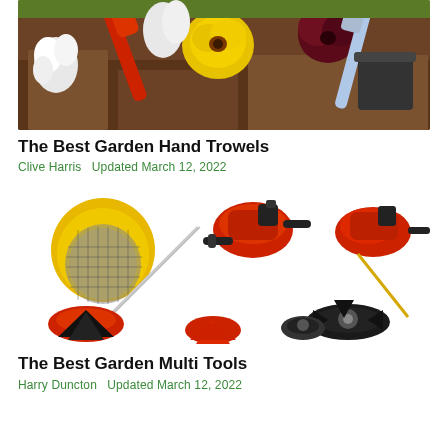[Figure (photo): Gardening photo showing hands planting flowers (yellow pansies, white flowers) in dark soil with a red trowel tool and blue shovel and black flower pot]
The Best Garden Hand Trowels
Clive Harris   Updated March 12, 2022
[Figure (photo): Garden multi-tool kit showing a gas-powered trimmer with yellow protective face shield helmet, multiple cutting heads (blade, spool, disc), red and black components on white background]
The Best Garden Multi Tools
Harry Duncton   Updated March 12, 2022